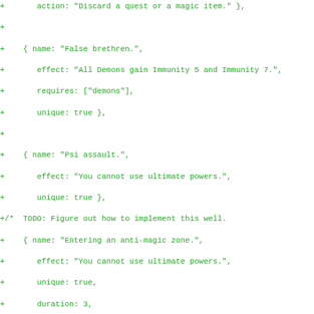Code diff showing game event definitions in JavaScript/JSON format, including events for 'False brethren', 'Psi assault', 'Entering an anti-magic zone', 'Fire from above', 'Bad dreams' (removed), and 'Overwhelming fear' (added), with a TODO comment and git diff hunk header.